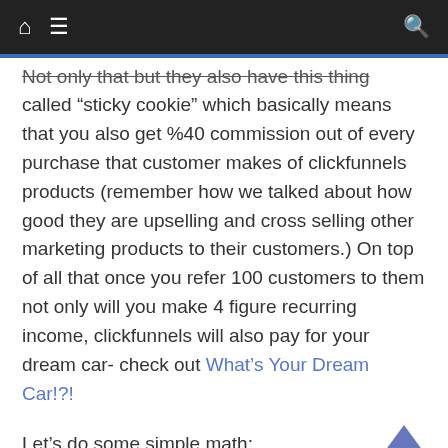Navigation bar with home, menu, and search icons
Not only that but they also have this thing called “sticky cookie” which basically means that you also get %40 commission out of every purchase that customer makes of clickfunnels products (remember how we talked about how good they are upselling and cross selling other marketing products to their customers.) On top of all that once you refer 100 customers to them not only will you make 4 figure recurring income, clickfunnels will also pay for your dream car- check out What’s Your Dream Car!?!
Let’s do some simple math:
100 Referred Starter Plan Cost...